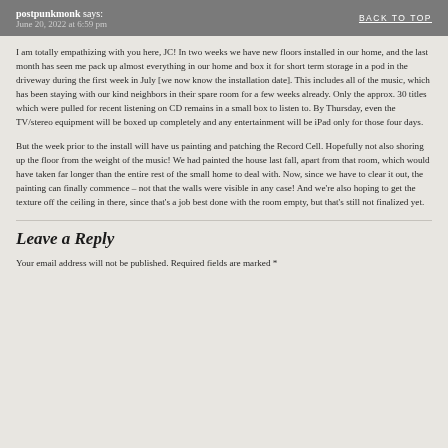postpunkmonk says: June 20, 2022 at 6:59 pm | BACK TO TOP
I am totally empathizing with you here, JC! In two weeks we have new floors installed in our home, and the last month has seen me pack up almost everything in our home and box it for short term storage in a pod in the driveway during the first week in July [we now know the installation date]. This includes all of the music, which has been staying with our kind neighbors in their spare room for a few weeks already. Only the approx. 30 titles which were pulled for recent listening on CD remains in a small box to listen to. By Thursday, even the TV/stereo equipment will be boxed up completely and any entertainment will be iPad only for those four days.
But the week prior to the install will have us painting and patching the Record Cell. Hopefully not also shoring up the floor from the weight of the music! We had painted the house last fall, apart from that room, which would have taken far longer than the entire rest of the small home to deal with. Now, since we have to clear it out, the painting can finally commence – not that the walls were visible in any case! And we're also hoping to get the texture off the ceiling in there, since that's a job best done with the room empty, but that's still not finalized yet.
Leave a Reply
Your email address will not be published. Required fields are marked *